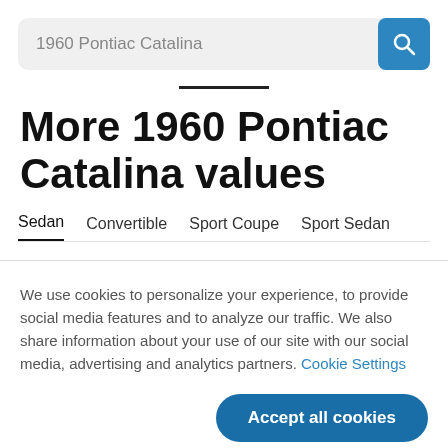1960 Pontiac Catalina
More 1960 Pontiac Catalina values
Sedan  Convertible  Sport Coupe  Sport Sedan
We use cookies to personalize your experience, to provide social media features and to analyze our traffic. We also share information about your use of our site with our social media, advertising and analytics partners. Cookie Settings
Accept all cookies